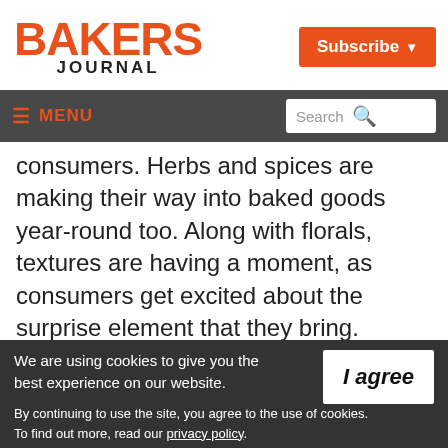BAKERS JOURNAL
Subscribe
MENU  Search
consumers. Herbs and spices are making their way into baked goods year-round too. Along with florals, textures are having a moment, as consumers get excited about the surprise element that they bring. Baked goods, such as cakes can use edible flowers for decorative
We are using cookies to give you the best experience on our website.
By continuing to use the site, you agree to the use of cookies.
To find out more, read our privacy policy.